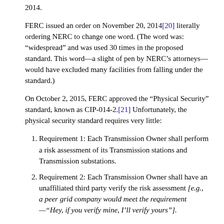2014.
FERC issued an order on November 20, 2014[20] literally ordering NERC to change one word. (The word was: “widespread” and was used 30 times in the proposed standard. This word—a slight of pen by NERC’s attorneys—would have excluded many facilities from falling under the standard.)
On October 2, 2015, FERC approved the “Physical Security” standard, known as CIP-014-2.[21] Unfortunately, the physical security standard requires very little:
Requirement 1: Each Transmission Owner shall perform a risk assessment of its Transmission stations and Transmission substations.
Requirement 2: Each Transmission Owner shall have an unaffiliated third party verify the risk assessment [e.g., a peer grid company would meet the requirement—“Hey, if you verify mine, I’ll verify yours”].